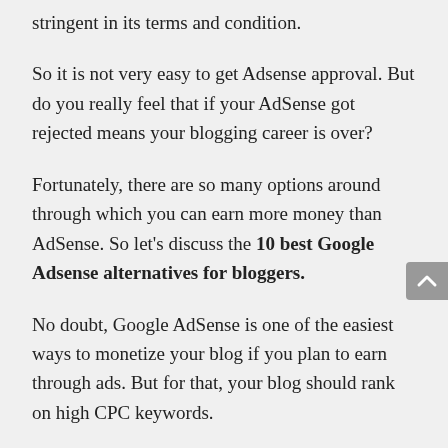stringent in its terms and condition.
So it is not very easy to get Adsense approval. But do you really feel that if your AdSense got rejected means your blogging career is over?
Fortunately, there are so many options around through which you can earn more money than AdSense. So let’s discuss the 10 best Google Adsense alternatives for bloggers.
No doubt, Google AdSense is one of the easiest ways to monetize your blog if you plan to earn through ads. But for that, your blog should rank on high CPC keywords.